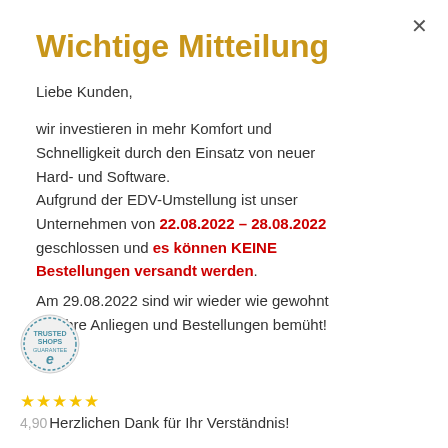Wichtige Mitteilung
Liebe Kunden,
wir investieren in mehr Komfort und Schnelligkeit durch den Einsatz von neuer Hard- und Software. Aufgrund der EDV-Umstellung ist unser Unternehmen von 22.08.2022 – 28.08.2022 geschlossen und es können KEINE Bestellungen versandt werden.
Am 29.08.2022 sind wir wieder wie gewohnt um Ihre Anliegen und Bestellungen bemüht!
Herzlichen Dank für Ihr Verständnis!
[Figure (logo): Trusted Shops guarantee badge — circular seal with 'e' logo and 'TRUSTED SHOPS GUARANTEE' text]
★★★★★ 4,90